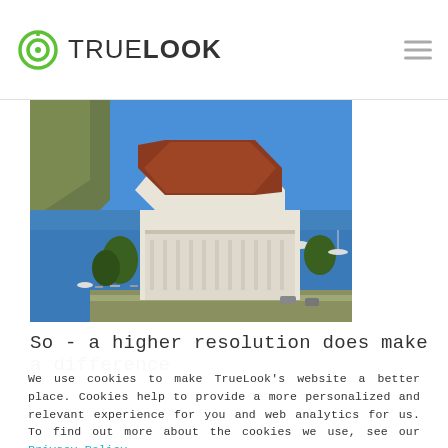TrueLook
[Figure (photo): Aerial view of the Catalina Island Casino building with red octagonal roof, white colonnaded structure on the waterfront, boats in the blue harbor, rocky cliffs in background]
So - a higher resolution does make a difference
We use cookies to make TrueLook's website a better place. Cookies help to provide a more personalized and relevant experience for you and web analytics for us. To find out more about the cookies we use, see our Privacy Policy.
Accept